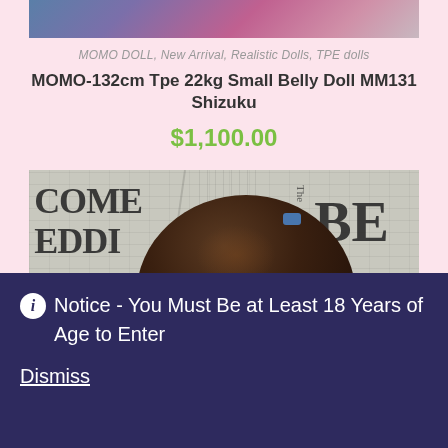[Figure (photo): Top portion of a product photo showing a doll wearing colorful outfit, partially cropped]
MOMO DOLL, New Arrival, Realistic Dolls, TPE dolls
MOMO-132cm Tpe 22kg Small Belly Doll MM131 Shizuku
$1,100.00
[Figure (photo): Photo of a doll with dark hair in pigtails against a newspaper background, showing the head from above looking down]
ⓘ Notice - You Must Be at Least 18 Years of Age to Enter
Dismiss